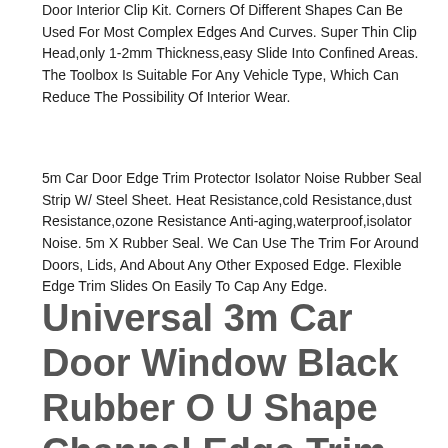Door Interior Clip Kit. Corners Of Different Shapes Can Be Used For Most Complex Edges And Curves. Super Thin Clip Head,only 1-2mm Thickness,easy Slide Into Confined Areas. The Toolbox Is Suitable For Any Vehicle Type, Which Can Reduce The Possibility Of Interior Wear.
5m Car Door Edge Trim Protector Isolator Noise Rubber Seal Strip W/ Steel Sheet. Heat Resistance,cold Resistance,dust Resistance,ozone Resistance Anti-aging,waterproof,isolator Noise. 5m X Rubber Seal. We Can Use The Trim For Around Doors, Lids, And About Any Other Exposed Edge. Flexible Edge Trim Slides On Easily To Cap Any Edge.
Universal 3m Car Door Window Black Rubber O U Shape Channel Edge Trim Seal Strip
Universal 3m Car Door Black Rubber O U Channel Edge Edging Trim Seal Trunk Strip. Universal 3m Car Door Rubber Weather Seal Hollow Strip Weatherstrip Sealing. Size Length